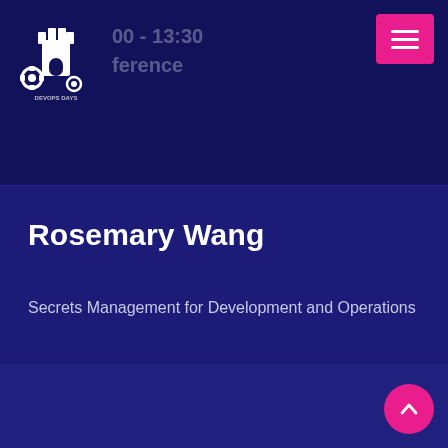13:00 - 13:30
Conference
[Figure (logo): DevOps Days Istanbul logo — white tower/castle icon with gears]
Rosemary Wang
Secrets Management for Development and Operations
13:30 - 14:00
Conference
Josh Armitage